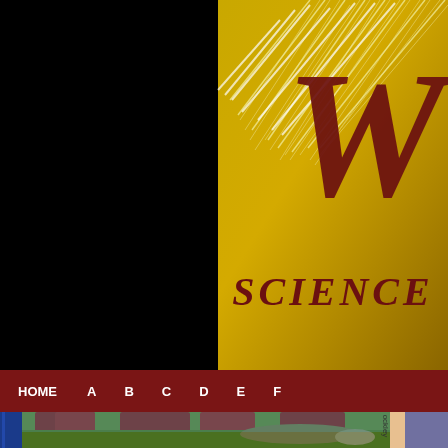[Figure (screenshot): Website header with black background on left half and golden wheat/science themed banner on right half showing large italic 'W' and 'SCIENCE' text in dark red]
[Figure (screenshot): Navigation bar in dark red with menu items: HOME, A, B, C, D, E, F]
[Figure (photo): Photo of books stacked/arranged showing colorful book covers with animal illustrations (mongoose/weasel visible), blue book spine on left, and additional book spines on the right including one labeled 'ockley']